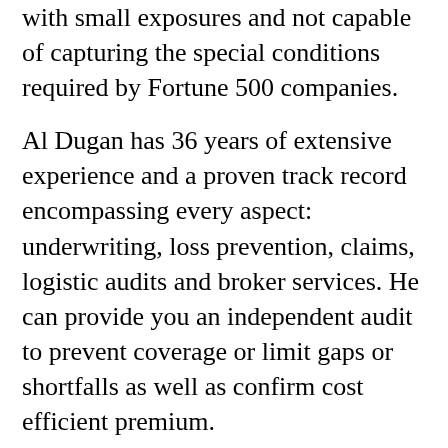with small exposures and not capable of capturing the special conditions required by Fortune 500 companies.
Al Dugan has 36 years of extensive experience and a proven track record encompassing every aspect: underwriting, loss prevention, claims, logistic audits and broker services. He can provide you an independent audit to prevent coverage or limit gaps or shortfalls as well as confirm cost efficient premium.
Dugan Risk Management and Insurances Services LLC is an approved intermediary for Lloyd's of London.
Services Offered